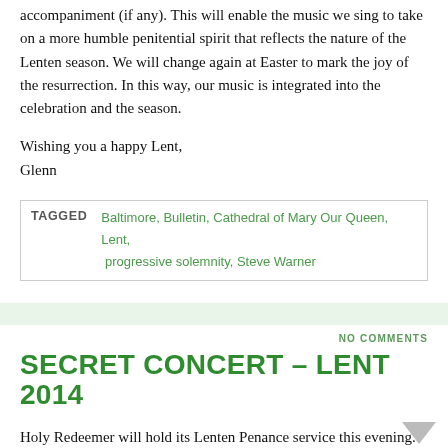accompaniment (if any). This will enable the music we sing to take on a more humble penitential spirit that reflects the nature of the Lenten season. We will change again at Easter to mark the joy of the resurrection. In this way, our music is integrated into the celebration and the season.
Wishing you a happy Lent,
Glenn
TAGGED Baltimore, Bulletin, Cathedral of Mary Our Queen, Lent, progressive solemnity, Steve Warner
NO COMMENTS
SECRET CONCERT – LENT 2014
Holy Redeemer will hold its Lenten Penance service this evening. As mentioned for the previous Secret Concert, this will be over one hour of quiet reflective improvisations on seasonal themes as